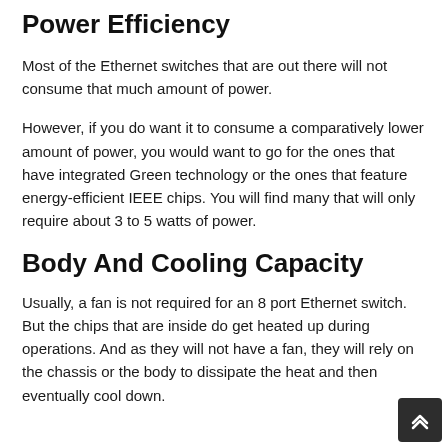Power Efficiency
Most of the Ethernet switches that are out there will not consume that much amount of power.
However, if you do want it to consume a comparatively lower amount of power, you would want to go for the ones that have integrated Green technology or the ones that feature energy-efficient IEEE chips. You will find many that will only require about 3 to 5 watts of power.
Body And Cooling Capacity
Usually, a fan is not required for an 8 port Ethernet switch. But the chips that are inside do get heated up during operations. And as they will not have a fan, they will rely on the chassis or the body to dissipate the heat and then eventually cool down.